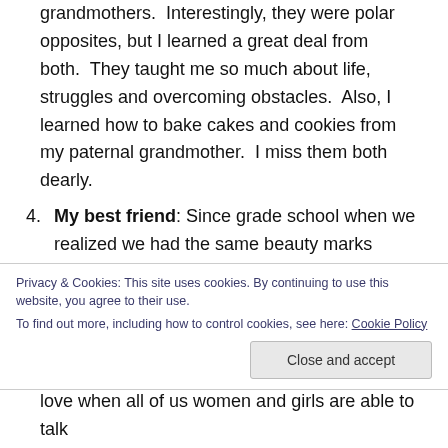grandmothers. Interestingly, they were polar opposites, but I learned a great deal from both. They taught me so much about life, struggles and overcoming obstacles. Also, I learned how to bake cakes and cookies from my paternal grandmother. I miss them both dearly.
4. My best friend: Since grade school when we realized we had the same beauty marks between our eyebrows we have been like sisters. It's great when we get together and share goals or just have girl talk.
Privacy & Cookies: This site uses cookies. By continuing to use this website, you agree to their use. To find out more, including how to control cookies, see here: Cookie Policy
love when all of us women and girls are able to talk